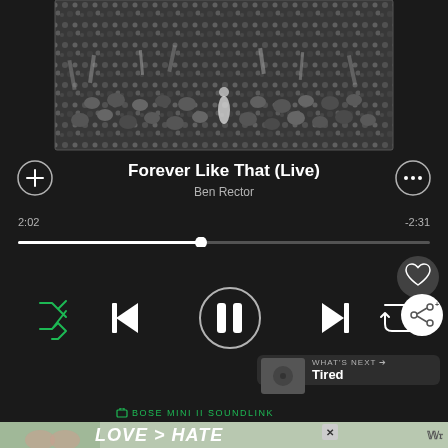[Figure (photo): Black and white photo of a concert crowd with a performer on stage, hands raised in the air]
Forever Like That (Live)
Ben Rector
2:02
-2:31
[Figure (infographic): Spotify music player controls: shuffle, previous, pause, next, repeat buttons]
WHAT'S NEXT → Tired
BOSE MINI II SOUNDLINK
[Figure (photo): Advertisement banner: hands making a heart shape, text LOVE > HATE]